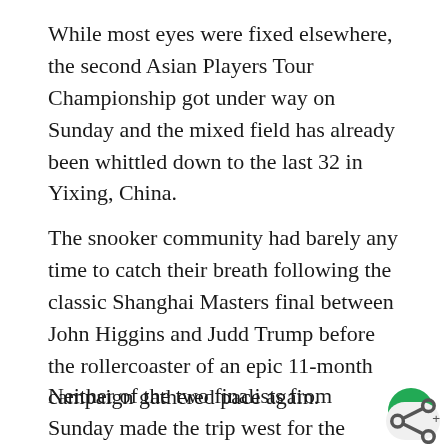While most eyes were fixed elsewhere, the second Asian Players Tour Championship got under way on Sunday and the mixed field has already been whittled down to the last 32 in Yixing, China.
The snooker community had barely any time to catch their breath following the classic Shanghai Masters final between John Higgins and Judd Trump before the rollercoaster of an epic 11-month campaign gathered pace again.
Neither of the two finalists from Sunday made the trip west for the satellite event, played under similar best-of-7 conditions as its sibling PTC series back in Europe.